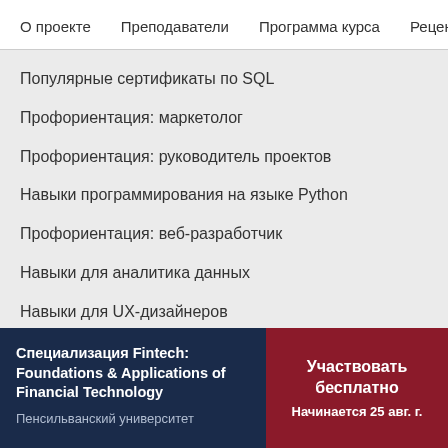О проекте   Преподаватели   Программа курса   Рецензи
Популярные сертификаты по SQL
Профориентация: маркетолог
Профориентация: руководитель проектов
Навыки программирования на языке Python
Профориентация: веб-разработчик
Навыки для аналитика данных
Навыки для UX-дизайнеров
Специализация Fintech: Foundations & Applications of Financial Technology
Пенсильванский университет
Участвовать бесплатно
Начинается 25 авг. г.